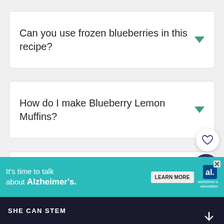Can you use frozen blueberries in this recipe?
How do I make Blueberry Lemon Muffins?
Can I bake this Blueberry Lemon Bread recipe in a bundt pan?
[Figure (screenshot): Advertisement banner: It's time to talk about Alzheimer's. LEARN MORE. Alzheimer's Association logo.]
SHE CAN STEM